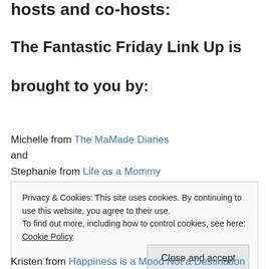hosts and co-hosts:
The Fantastic Friday Link Up is brought to you by:
Michelle from The MaMade Diaries and Stephanie from Life as a Mommy
Privacy & Cookies: This site uses cookies. By continuing to use this website, you agree to their use. To find out more, including how to control cookies, see here: Cookie Policy
Kristen from Happiness is a Mood Not a Destination